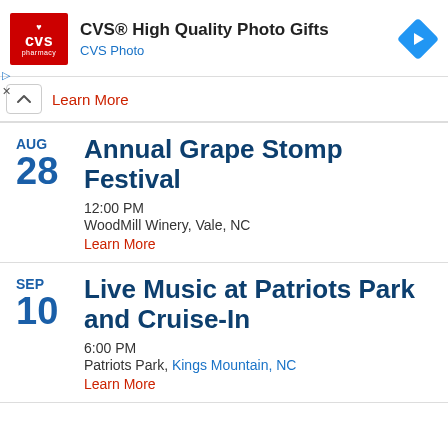[Figure (screenshot): CVS Pharmacy ad banner with red logo, text 'CVS® High Quality Photo Gifts', 'CVS Photo' subtitle, and blue navigation diamond icon]
Learn More
AUG 28 Annual Grape Stomp Festival 12:00 PM WoodMill Winery, Vale, NC Learn More
SEP 10 Live Music at Patriots Park and Cruise-In 6:00 PM Patriots Park, Kings Mountain, NC Learn More